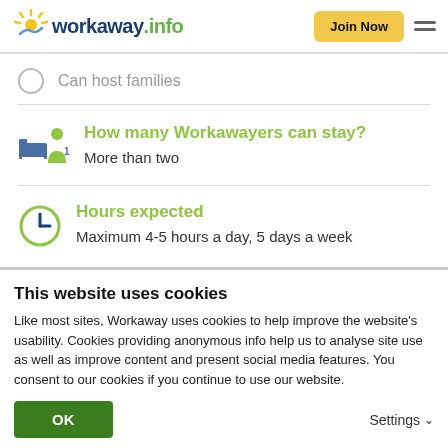[Figure (logo): Workaway.info logo with sun icon in yellow/green/blue, bold navy text 'workaway' and green '.info']
[Figure (other): Yellow 'Join Now' button and hamburger menu icon]
Can host families
How many Workawayers can stay?
More than two
Hours expected
Maximum 4-5 hours a day, 5 days a week
This website uses cookies
Like most sites, Workaway uses cookies to help improve the website's usability. Cookies providing anonymous info help us to analyse site use as well as improve content and present social media features.  You consent to our cookies if you continue to use our website.
OK
Settings